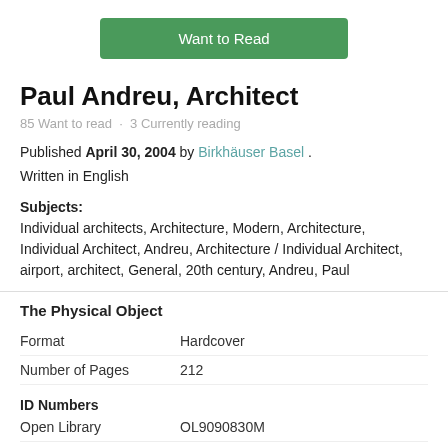[Figure (other): Green 'Want to Read' button]
Paul Andreu, Architect
85 Want to read · 3 Currently reading
Published April 30, 2004 by Birkhäuser Basel . Written in English
Subjects: Individual architects, Architecture, Modern, Architecture, Individual Architect, Andreu, Architecture / Individual Architect, airport, architect, General, 20th century, Andreu, Paul
The Physical Object
|  |  |
| --- | --- |
| Format | Hardcover |
| Number of Pages | 212 |
| ID Numbers |  |
| Open Library | OL9090830M |
| ISBN 10 | 3764370106 |